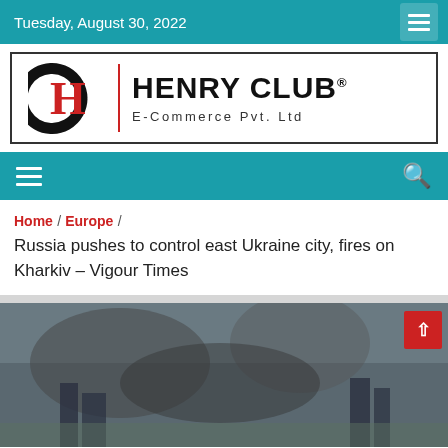Tuesday, August 30, 2022
[Figure (logo): Henry Club E-Commerce Pvt. Ltd logo with HC monogram symbol and text]
Home / Europe / Russia pushes to control east Ukraine city, fires on Kharkiv – Vigour Times
[Figure (photo): Photograph of a war scene, smoky and dark, related to Ukraine conflict]